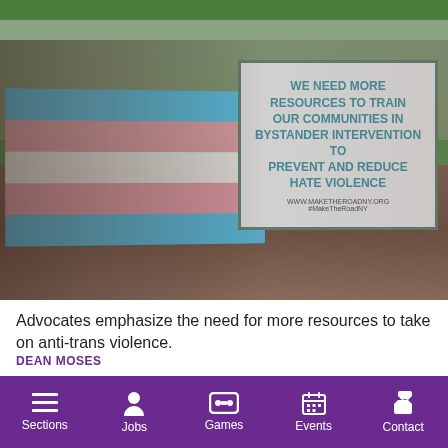[Figure (photo): Advocates at a protest holding a transgender pride flag and a sign reading 'WE NEED MORE RESOURCES TO TRAIN OUR COMMUNITIES IN BYSTANDER INTERVENTION TO PREVENT AND REDUCE HATE VIOLENCE' with www.maketheroadny.org at the bottom]
Advocates emphasize the need for more resources to take on anti-trans violence.
DEAN MOSES
[Figure (other): Social share buttons: Facebook (blue), Twitter (light blue), and Add (orange-red)]
Sections  Jobs  Games  Events  Contact